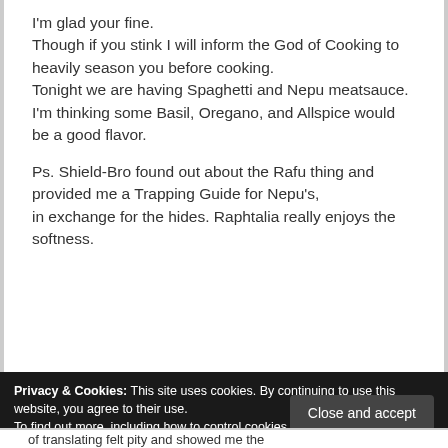I'm glad your fine.
Though if you stink I will inform the God of Cooking to heavily season you before cooking.
Tonight we are having Spaghetti and Nepu meatsauce. I'm thinking some Basil, Oregano, and Allspice would be a good flavor.

Ps. Shield-Bro found out about the Rafu thing and provided me a Trapping Guide for Nepu's,
in exchange for the hides. Raphtalia really enjoys the softness.
Privacy & Cookies: This site uses cookies. By continuing to use this website, you agree to their use.
To find out more, including how to control cookies, see here: Our Cookie Policy
Close and accept
of translating felt pity and showed me the